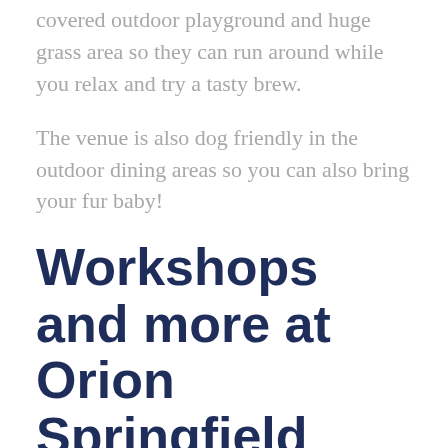covered outdoor playground and huge grass area so they can run around while you relax and try a tasty brew.
The venue is also dog friendly in the outdoor dining areas so you can also bring your fur baby!
Workshops and more at Orion Springfield